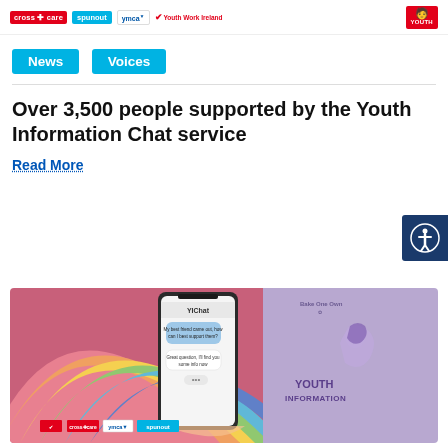cross care | spunout | ymca | Youth Work Ireland | Youth Information
News
Voices
Over 3,500 people supported by the Youth Information Chat service
Read More
[Figure (illustration): Promotional illustration showing a hand holding a smartphone displaying a YICHat conversation on a rainbow-colored background with Youth Information logo. Chat reads: 'My best friend came out, how can I best support them?' and 'Great question, I'll find you some info now'. Bottom logos: Youth Work Ireland, Cross Care, ymca ireland, spunout.]